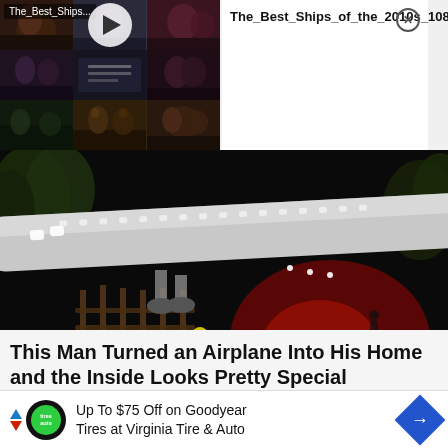[Figure (screenshot): Video thumbnail grid with play button overlay, showing TV show scenes. Label reads 'The_Best_Ships...']
The_Best_Ships_of_the_2010s_1080p
[Figure (photo): Nighttime photo of a Boeing airplane converted into a home, lit with red and green lights, surrounded by trees and a wooden fence.]
This Man Turned an Airplane Into His Home and the Inside Looks Pretty Special
ReadBakery | Sponsored
[Figure (screenshot): Partial bottom strip showing images, cut off]
Up To $75 Off on Goodyear Tires at Virginia Tire & Auto